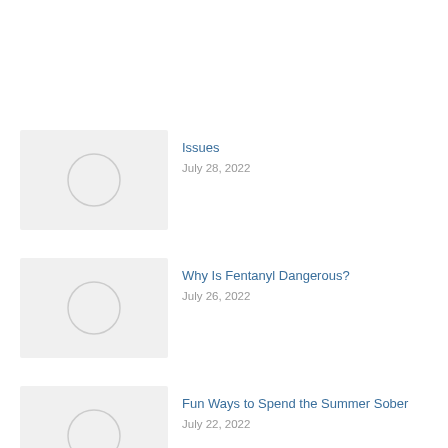Issues
July 28, 2022
Why Is Fentanyl Dangerous?
July 26, 2022
Fun Ways to Spend the Summer Sober
July 22, 2022